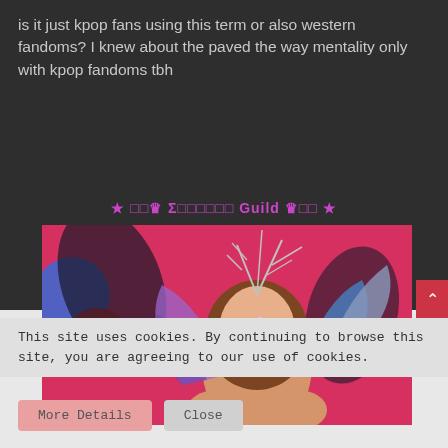is it just kpop fans using this term or also western fandoms? I knew about the paved the way mentality only with kpop fandoms tbh
★ □□♛ Σ□□□□□□ Guild ♛□□ ★
[Figure (photo): K-pop idol wearing an elaborate silver branch crown/headpiece, glittery face decorations, and iridescent butterfly wing costume, posed against a pink-red background with balloons]
This site uses cookies. By continuing to browse this site, you are agreeing to our use of cookies.
More Details   Close